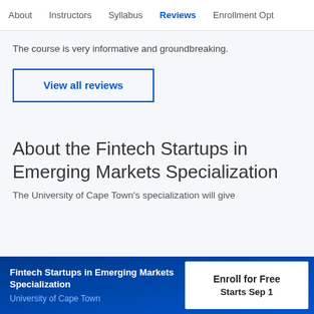About   Instructors   Syllabus   Reviews   Enrollment Opt
The course is very informative and groundbreaking.
View all reviews
About the Fintech Startups in Emerging Markets Specialization
The University of Cape Town's specialization will give
Fintech Startups in Emerging Markets Specialization
University of Cape Town
Enroll for Free
Starts Sep 1